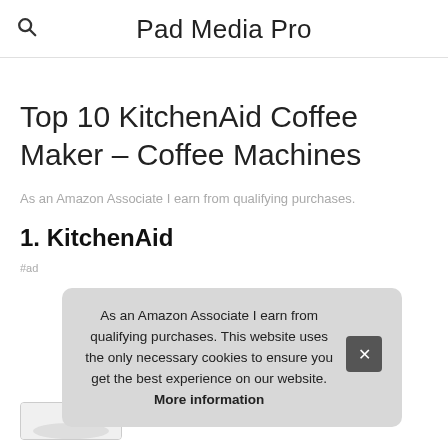Pad Media Pro
Top 10 KitchenAid Coffee Maker – Coffee Machines
As an Amazon Associate I earn from qualifying purchases.
1. KitchenAid
#ad
As an Amazon Associate I earn from qualifying purchases. This website uses the only necessary cookies to ensure you get the best experience on our website. More information